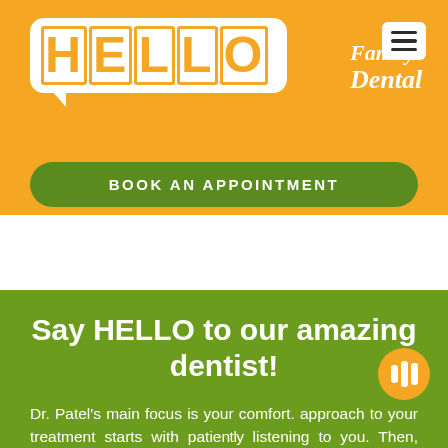[Figure (logo): Hello Family Dental logo — white speech bubble with HELLO in orange block letters, and 'Family Dental' in italic white script to the right, on orange background]
[Figure (other): Hamburger menu icon — three horizontal lines in a white rounded square, top right corner]
BOOK AN APPOINTMENT
Say HELLO to our amazing dentist!
Dr. Patel's main focus is your comfort. approach to your treatment starts with patiently listening to you. Then, after a complete and